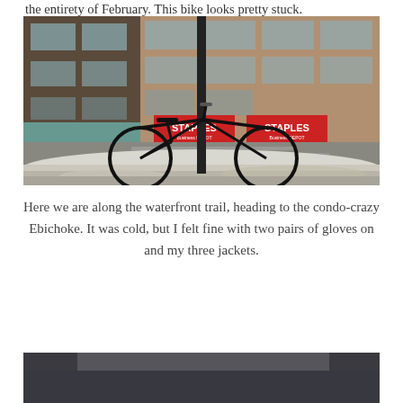the entirety of February.  This bike looks pretty stuck.
[Figure (photo): A black bicycle locked to a street pole, partially buried in a dirty snow bank. In the background is a city streetscape with Staples Business Depot storefronts visible.]
Here we are along the waterfront trail, heading to the condo-crazy Ebichoke.  It was cold, but I felt fine with two pairs of gloves on and my three jackets.
[Figure (photo): Partial view of another outdoor winter photo, cropped at the bottom of the page.]